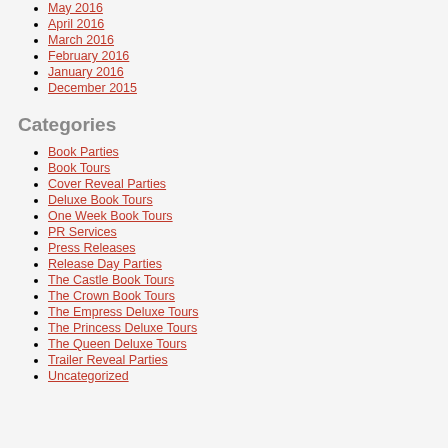May 2016
April 2016
March 2016
February 2016
January 2016
December 2015
Categories
Book Parties
Book Tours
Cover Reveal Parties
Deluxe Book Tours
One Week Book Tours
PR Services
Press Releases
Release Day Parties
The Castle Book Tours
The Crown Book Tours
The Empress Deluxe Tours
The Princess Deluxe Tours
The Queen Deluxe Tours
Trailer Reveal Parties
Uncategorized